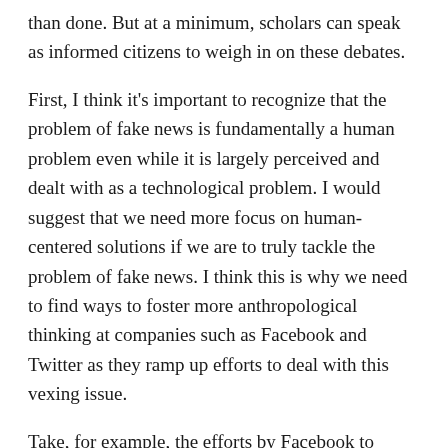than done. But at a minimum, scholars can speak as informed citizens to weigh in on these debates.
First, I think it's important to recognize that the problem of fake news is fundamentally a human problem even while it is largely perceived and dealt with as a technological problem. I would suggest that we need more focus on human-centered solutions if we are to truly tackle the problem of fake news. I think this is why we need to find ways to foster more anthropological thinking at companies such as Facebook and Twitter as they ramp up efforts to deal with this vexing issue.
Take, for example, the efforts by Facebook to remove fake accounts that Mei-chun cited. In his recent speech at Georgetown University, Mark Zuckerberg emphasized: "The solution [to misinformation] is to verify the identities of accounts getting wide distribution and get